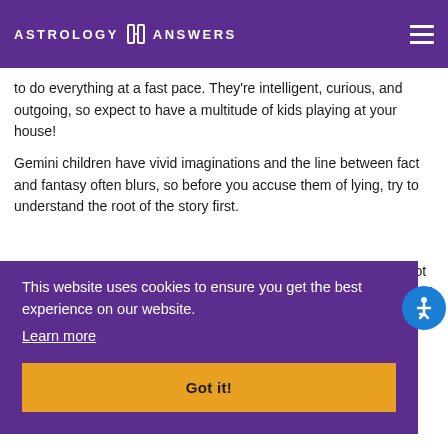ASTROLOGY ANSWERS
to do everything at a fast pace. They're intelligent, curious, and outgoing, so expect to have a multitude of kids playing at your house!
Gemini children have vivid imaginations and the line between fact and fantasy often blurs, so before you accuse them of lying, try to understand the root of the story first.
This website uses cookies to ensure you get the best experience on our website.
Learn more
Got it!